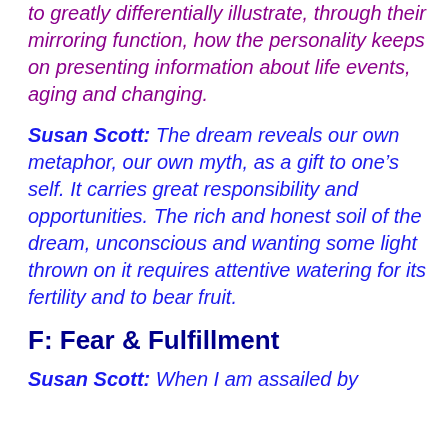to greatly differentially illustrate, through their mirroring function, how the personality keeps on presenting information about life events, aging and changing.
Susan Scott: The dream reveals our own metaphor, our own myth, as a gift to one's self. It carries great responsibility and opportunities. The rich and honest soil of the dream, unconscious and wanting some light thrown on it requires attentive watering for its fertility and to bear fruit.
F: Fear & Fulfillment
Susan Scott: When I am assailed by